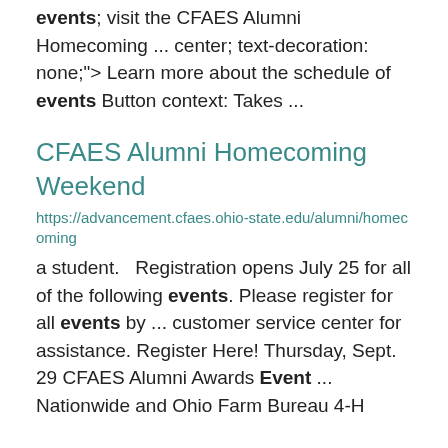events; visit the CFAES Alumni Homecoming ... center; text-decoration: none;"> Learn more about the schedule of events Button context:  Takes ...
CFAES Alumni Homecoming Weekend
https://advancement.cfaes.ohio-state.edu/alumni/homecoming
a student.   Registration opens July 25 for all of the following events. Please register for all events by ... customer service center for assistance. Register Here! Thursday, Sept. 29 CFAES Alumni Awards Event ... Nationwide and Ohio Farm Bureau 4-H